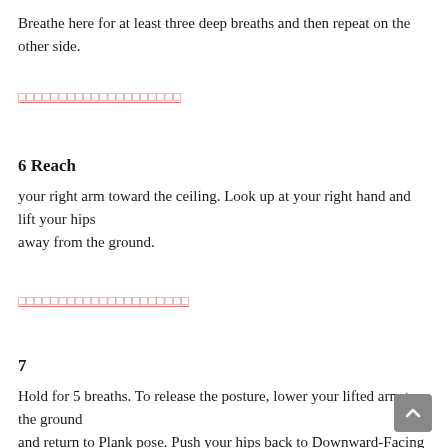Breathe here for at least three deep breaths and then repeat on the other side.
□□□□□□□□□□□□□□□□□□□□
6 Reach
your right arm toward the ceiling. Look up at your right hand and lift your hips away from the ground.
□□□□□□□□□□□□□□□□□□□□□
7
Hold for 5 breaths. To release the posture, lower your lifted arm to the ground and return to Plank pose. Push your hips back to Downward-Facing Dog.